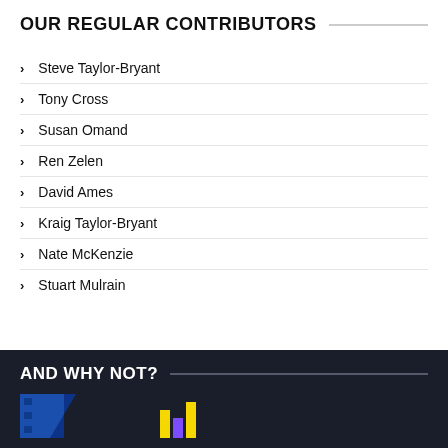OUR REGULAR CONTRIBUTORS
Steve Taylor-Bryant
Tony Cross
Susan Omand
Ren Zelen
David Ames
Kraig Taylor-Bryant
Nate McKenzie
Stuart Mulrain
AND WHY NOT?
[Figure (photo): Bottom banner with film strip graphic elements in blue, yellow, and purple on dark background]